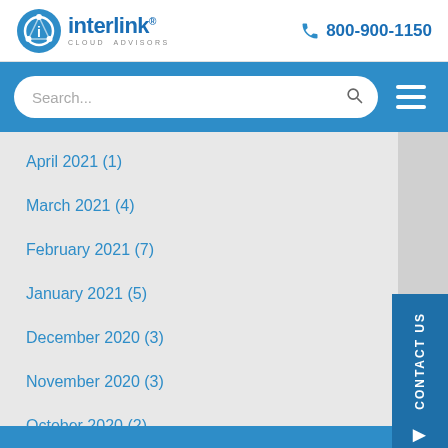[Figure (logo): Interlink Cloud Advisors logo with blue gear/network icon]
800-900-1150
[Figure (screenshot): Blue navigation bar with search field and hamburger menu icon]
April 2021 (1)
March 2021 (4)
February 2021 (7)
January 2021 (5)
December 2020 (3)
November 2020 (3)
October 2020 (2)